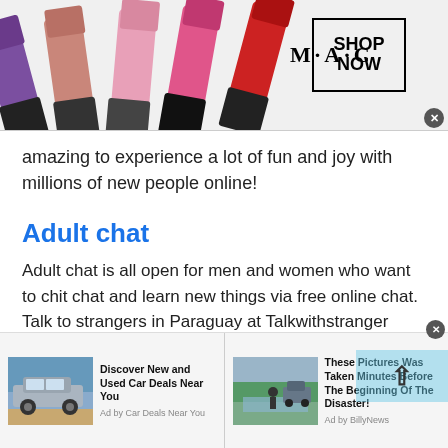[Figure (photo): MAC cosmetics advertisement banner with lipsticks on left, MAC logo in center, and SHOP NOW box on right with a close button]
amazing to experience a lot of fun and joy with millions of new people online!
Adult chat
Adult chat is all open for men and women who want to chit chat and learn new things via free online chat. Talk to strangers in Paraguay at Talkwithstranger men and women chat rooms help you connect with the world absolutely free. If you are searching for
[Figure (photo): Bottom advertisement bar with two ad blocks: 'Discover New and Used Car Deals Near You' by Car Deals Near You, and 'These Pictures Was Taken Minutes Before The Beginning Of The Disaster!' by BillyNews, with a close button]